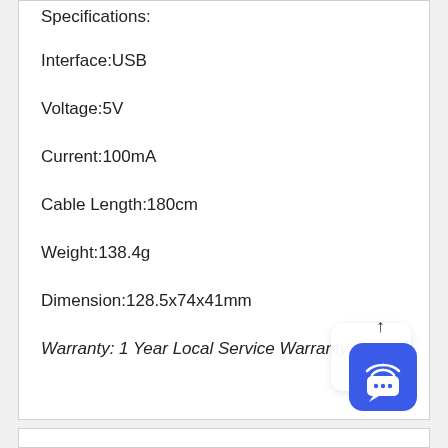Specifications:
Interface:USB
Voltage:5V
Current:100mA
Cable Length:180cm
Weight:138.4g
Dimension:128.5x74x41mm
Warranty: 1 Year Local Service Warranty
[Figure (illustration): Blue chat/messaging widget icon with WiFi signal and speech bubble with ellipsis, with an upward arrow above it]